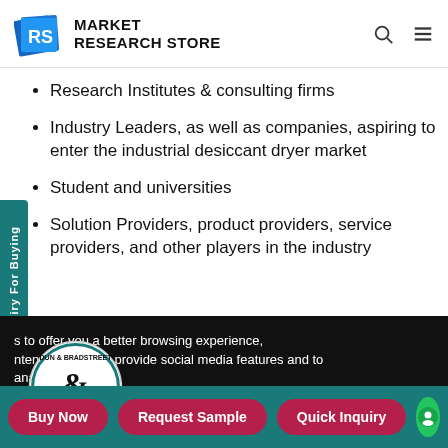MARKET RESEARCH STORE
Research Institutes & consulting firms
Industry Leaders, as well as companies, aspiring to enter the industrial desiccant dryer market
Student and universities
Solution Providers, product providers, service providers, and other players in the industry
s to offer you a better browsing experience, ntent and ads, to provide social media features and to analyse our traffic.
Buy Now | Request Sample | Quick Inquiry